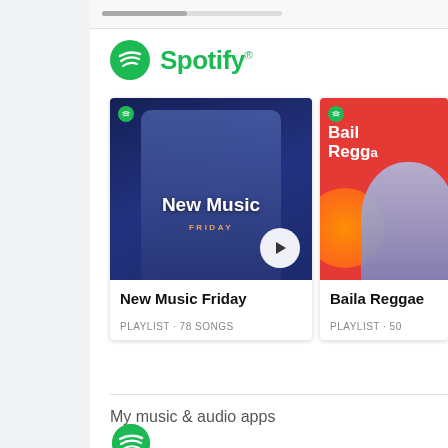[Figure (screenshot): Spotify app listing in Google Play Store or similar app store, showing New Music Friday and Baila Reggae playlists, with a 'My music & audio apps' section below]
Spotify
New Music Friday
PLAYLIST · 78 SONGS
Baila Reggae
PLAYLIST · 50
My music & audio apps